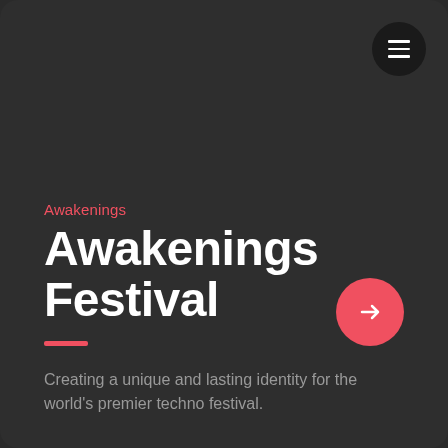[Figure (infographic): Dark rounded rectangle page background with hamburger menu button (dark circle, top-right) and arrow/navigate button (coral/red circle with right arrow, mid-right)]
Awakenings
Awakenings Festival
Creating a unique and lasting identity for the world's premier techno festival.